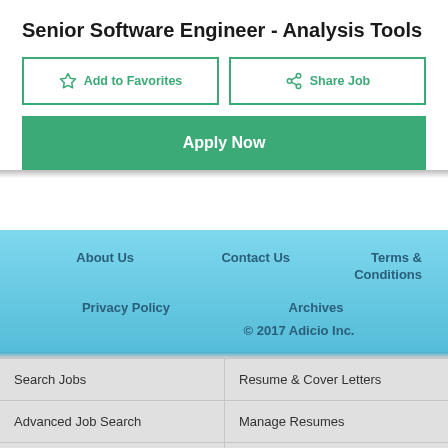Senior Software Engineer - Analysis Tools
Add to Favorites
Share Job
Apply Now
About Us  Contact Us  Terms & Conditions  Privacy Policy  Archives  © 2017 Adicio Inc.
Search Jobs
Resume & Cover Letters
Advanced Job Search
Manage Resumes
Browse Jobs by Category
Create A Resume